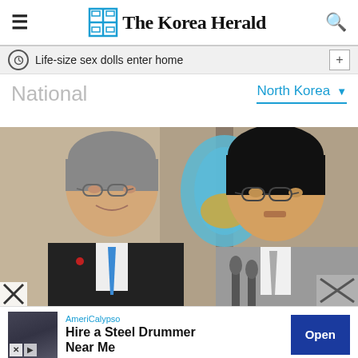The Korea Herald
Life-size sex dolls enter home
National
North Korea
[Figure (photo): Two men seated at a table: on the left a man in a dark suit with blue tie and glasses smiling, on the right a man in a gray suit with glasses in front of microphones, with a light blue and gold flag in the background.]
AmeriCalypso
Hire a Steel Drummer Near Me
Open